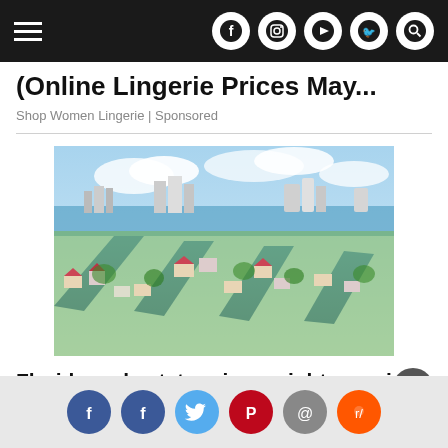Navigation header with hamburger menu and social icons (Facebook, Instagram, YouTube, Twitter, Search)
(Online Lingerie Prices May...
Shop Women Lingerie | Sponsored
[Figure (photo): Aerial view of Florida waterway community with canals, houses, boats, and city skyline in the background]
Florida real estate prices might surprise you
Real Estate Florida | Sponsored
Social sharing icons: Facebook, Facebook, Twitter, Pinterest, Email, Reddit